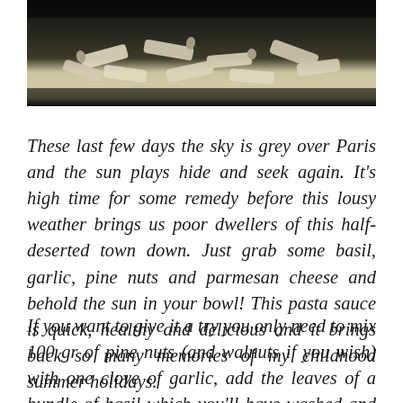[Figure (photo): Close-up photo of penne pasta dish, likely with pesto sauce, on a dark background]
These last few days the sky is grey over Paris and the sun plays hide and seek again. It's high time for some remedy before this lousy weather brings us poor dwellers of this half-deserted town down. Just grab some basil, garlic, pine nuts and parmesan cheese and behold the sun in your bowl! This pasta sauce is quick, healthy and delicious and it brings back so many memories of my childhood summer holidays.
If you want to give it a try you only need to mix 100 gr of pine nuts (and walnuts if you wish) with one clove of garlic, add the leaves of a bundle of basil which you'll have washed and dried first, salt and